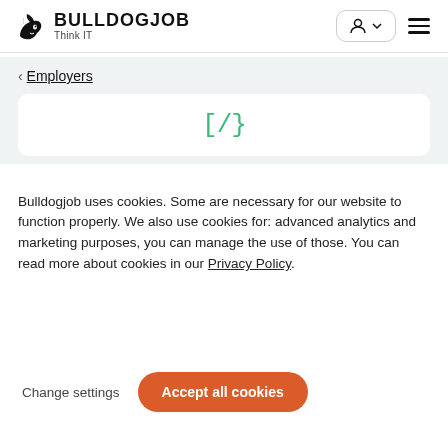[Figure (logo): Bulldog icon with text BULLDOGJOB Think IT and navigation icons]
< Employers
[Figure (illustration): White card with green [/} code icon]
Bulldogjob uses cookies. Some are necessary for our website to function properly. We also use cookies for: advanced analytics and marketing purposes, you can manage the use of those. You can read more about cookies in our Privacy Policy.
Change settings
Accept all cookies